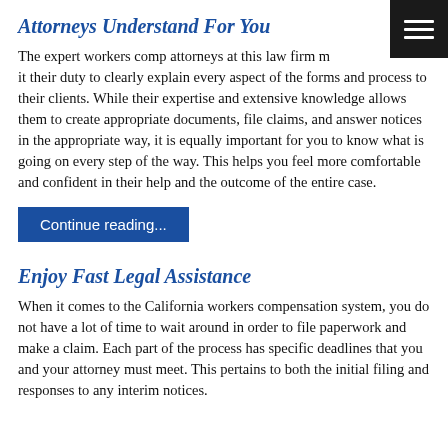Attorneys Understand For You
The expert workers comp attorneys at this law firm make it their duty to clearly explain every aspect of the forms and process to their clients. While their expertise and extensive knowledge allows them to create appropriate documents, file claims, and answer notices in the appropriate way, it is equally important for you to know what is going on every step of the way. This helps you feel more comfortable and confident in their help and the outcome of the entire case.
Continue reading...
Enjoy Fast Legal Assistance
When it comes to the California workers compensation system, you do not have a lot of time to wait around in order to file paperwork and make a claim. Each part of the process has specific deadlines that you and your attorney must meet. This pertains to both the initial filing and responses to any interim notices.